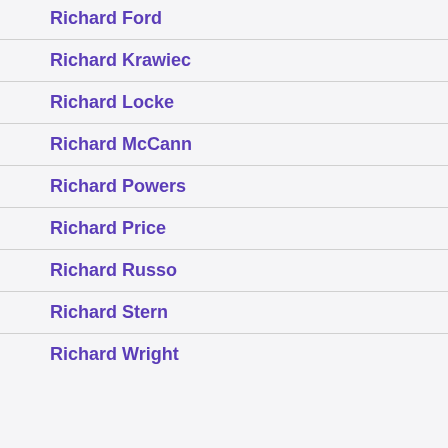Richard Ford
Richard Krawiec
Richard Locke
Richard McCann
Richard Powers
Richard Price
Richard Russo
Richard Stern
Richard Wright